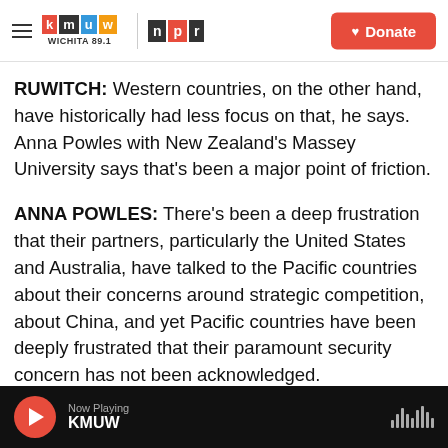KMUW WICHITA 89.1 | NPR | Donate
RUWITCH: Western countries, on the other hand, have historically had less focus on that, he says. Anna Powles with New Zealand's Massey University says that's been a major point of friction.
ANNA POWLES: There's been a deep frustration that their partners, particularly the United States and Australia, have talked to the Pacific countries about their concerns around strategic competition, about China, and yet Pacific countries have been deeply frustrated that their paramount security concern has not been acknowledged.
Now Playing KMUW